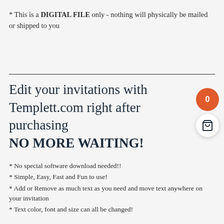* This is a DIGITAL FILE only - nothing will physically be mailed or shipped to you
Edit your invitations with Templett.com right after purchasing
NO MORE WAITING!
* No special software download needed!!
* Simple, Easy, Fast and Fun to use!
* Add or Remove as much text as you need and move text anywhere on your invitation
* Text color, font and size can all be changed!